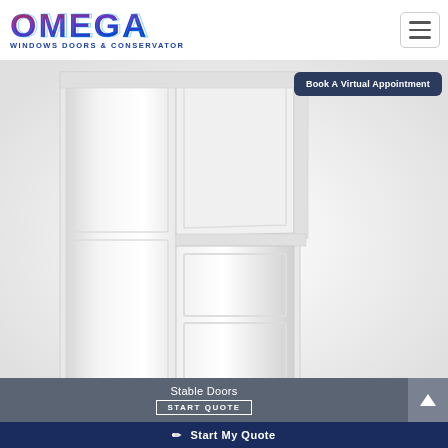[Figure (logo): Omega Windows Doors & Conservatories logo with colorful gradient text and tagline]
[Figure (other): Hamburger/navigation menu button in top right corner]
Book A Virtual Appointment
[Figure (photo): White stable door open at top half, closed at bottom half, on white background]
Stable Doors
START QUOTE
Start My Quote